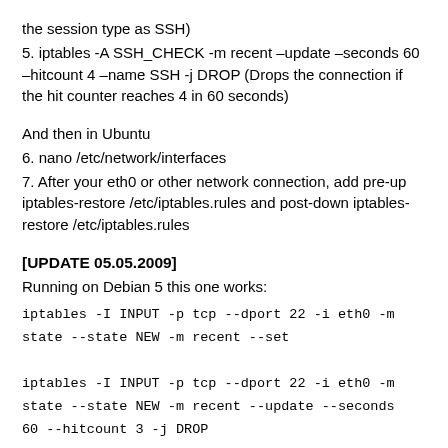the session type as SSH)
5. iptables -A SSH_CHECK -m recent –update –seconds 60 –hitcount 4 –name SSH -j DROP (Drops the connection if the hit counter reaches 4 in 60 seconds)
And then in Ubuntu
6. nano /etc/network/interfaces
7. After your eth0 or other network connection, add pre-up iptables-restore /etc/iptables.rules and post-down iptables-restore /etc/iptables.rules
[UPDATE 05.05.2009]
Running on Debian 5 this one works:
iptables -I INPUT -p tcp --dport 22 -i eth0 -m state --state NEW -m recent --set
iptables -I INPUT -p tcp --dport 22 -i eth0 -m state --state NEW -m recent --update --seconds 60 --hitcount 3 -j DROP